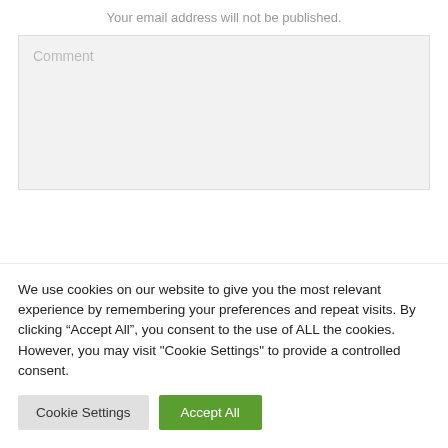Your email address will not be published.
Comment
We use cookies on our website to give you the most relevant experience by remembering your preferences and repeat visits. By clicking “Accept All”, you consent to the use of ALL the cookies. However, you may visit "Cookie Settings" to provide a controlled consent.
Cookie Settings
Accept All